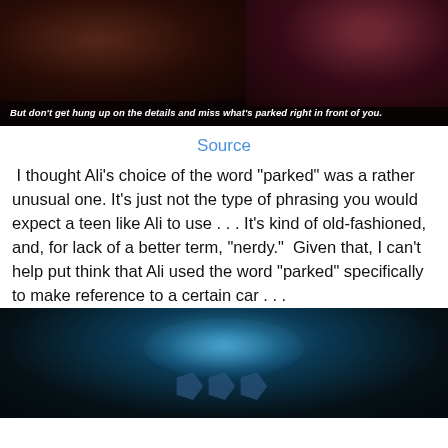[Figure (photo): Dark cinematic scene with two figures, one holding a quill pen and paper. A subtitle reads: But don't get hung up on the details and miss what's parked right in front of you.]
Source
I thought Ali’s choice of the word “parked” was a rather unusual one. It’s just not the type of phrasing you would expect a teen like Ali to use . . . It’s kind of old-fashioned, and, for lack of a better term, “nerdy.”  Given that, I can’t help put think that Ali used the word “parked” specifically to make reference to a certain car . . .
[Figure (photo): Dark teal underwater or night scene with a glowing light source and dark text/shapes that appear to spell something in the lower portion of the image.]